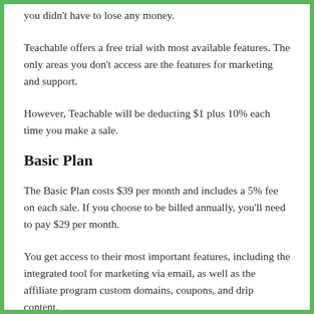you didn't have to lose any money.
Teachable offers a free trial with most available features. The only areas you don't access are the features for marketing and support.
However, Teachable will be deducting $1 plus 10% each time you make a sale.
Basic Plan
The Basic Plan costs $39 per month and includes a 5% fee on each sale. If you choose to be billed annually, you'll need to pay $29 per month.
You get access to their most important features, including the integrated tool for marketing via email, as well as the affiliate program custom domains, coupons, and drip content.